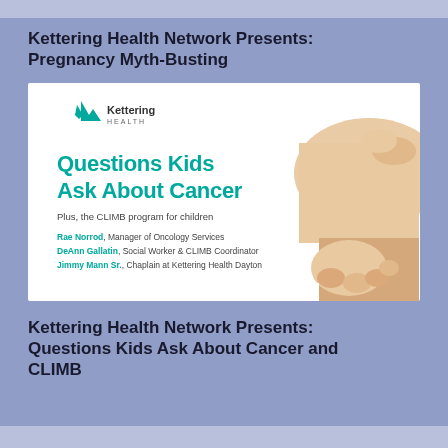Kettering Health Network Presents: Pregnancy Myth-Busting
[Figure (illustration): Kettering Health branded slide image showing 'Questions Kids Ask About Cancer' with hands clasped, plus presenter names Rae Norrod, DeAnn Gallatin, Jimmy Mann Sr.]
Kettering Health Network Presents: Questions Kids Ask About Cancer and CLIMB